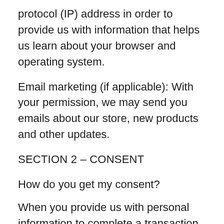protocol (IP) address in order to provide us with information that helps us learn about your browser and operating system.
Email marketing (if applicable): With your permission, we may send you emails about our store, new products and other updates.
SECTION 2 – CONSENT
How do you get my consent?
When you provide us with personal information to complete a transaction, verify your credit card, place an order, arrange for a delivery or return a purchase, we imply that you consent to our collecting it and using it for that specific reason